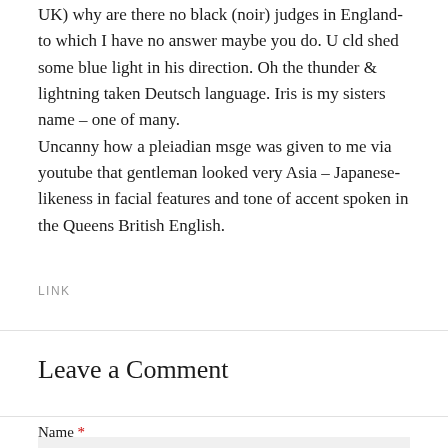UK) why are there no black (noir) judges in England- to which I have no answer maybe you do. U cld shed some blue light in his direction. Oh the thunder & lightning taken Deutsch language. Iris is my sisters name – one of many.
Uncanny how a pleiadian msge was given to me via youtube that gentleman looked very Asia – Japanese- likeness in facial features and tone of accent spoken in the Queens British English.
LINK
Leave a Comment
Name *